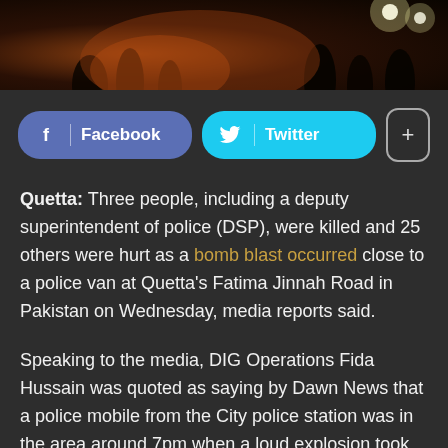[Figure (photo): Dark nighttime crowd scene with orange/amber light glow, silhouettes of people visible]
Facebook  Twitter  +
Quetta: Three people, including a deputy superintendent of police (DSP), were killed and 25 others were hurt as a bomb blast occurred close to a police van at Quetta's Fatima Jinnah Road in Pakistan on Wednesday, media reports said.
Speaking to the media, DIG Operations Fida Hussain was quoted as saying by Dawn News that a police mobile from the City police station was in the area around 7pm when a loud explosion took place.